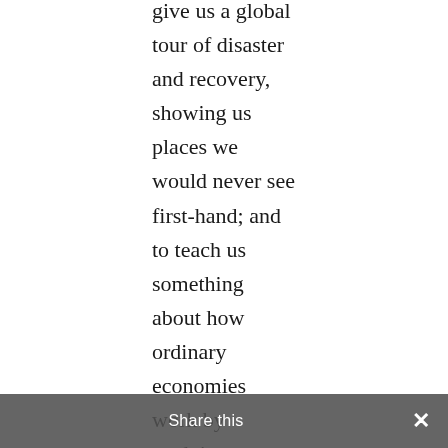give us a global tour of disaster and recovery, showing us places we would never see first-hand; and to teach us something about how ordinary economies work by studying extreme ones. Davies delivers impressively on the first promise, with crisp and sensitive reporting from an extraordinary range of inaccessible places.
The lessons, however, are more uneven. Davies notes, for example, that after the Aceh tsunami, the few survivors were able to sell their gold jewellery to local gold traders Harun and Sofi, who could access the international market price. That gold was always intended as saving for hard times, Davies tells us it
Share this